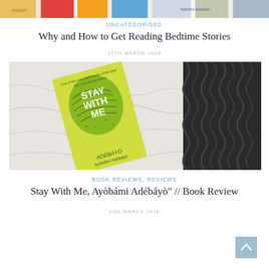[Figure (photo): Top portion of a photo showing a stack of colorful books, partially cropped]
UNCATEGORISED
Why and How to Get Reading Bedtime Stories
17TH MARCH 2018
[Figure (photo): Photo of the book 'Stay With Me' by Ayobami Adebayo lying on white fabric next to a dark braided blanket or yarn]
BOOK REVIEWS, REVIEWS
Stay With Me, Ayòbámi Adébáyò" // Book Review
2ND MARCH 2018